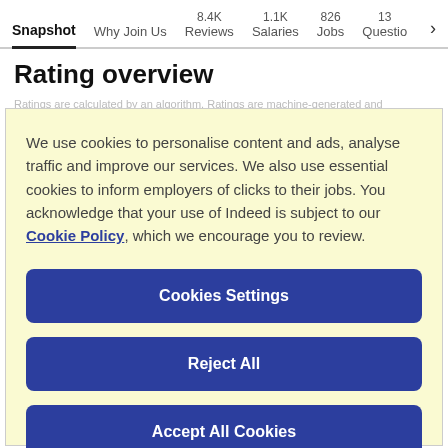Snapshot  Why Join Us  8.4K Reviews  1.1K Salaries  826 Jobs  13 Questions >
Rating overview
We use cookies to personalise content and ads, analyse traffic and improve our services. We also use essential cookies to inform employers of clicks to their jobs. You acknowledge that your use of Indeed is subject to our Cookie Policy, which we encourage you to review.
Cookies Settings
Reject All
Accept All Cookies